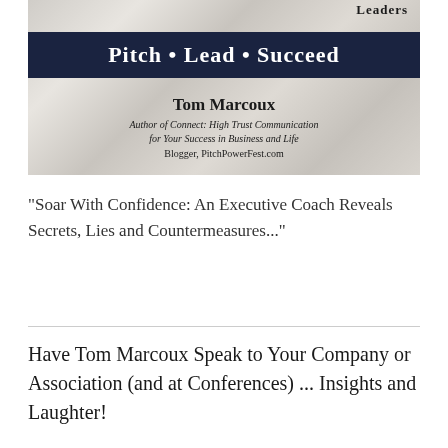[Figure (illustration): Book cover image with marble background. Top right shows text 'Leaders'. A dark navy banner reads 'Pitch • Lead • Succeed'. Below the banner: author name 'Tom Marcoux', subtitle 'Author of Connect: High Trust Communication for Your Success in Business and Life', and 'Blogger, PitchPowerFest.com'.]
"Soar With Confidence: An Executive Coach Reveals Secrets, Lies and Countermeasures..."
Have Tom Marcoux Speak to Your Company or Association (and at Conferences) ... Insights and Laughter!